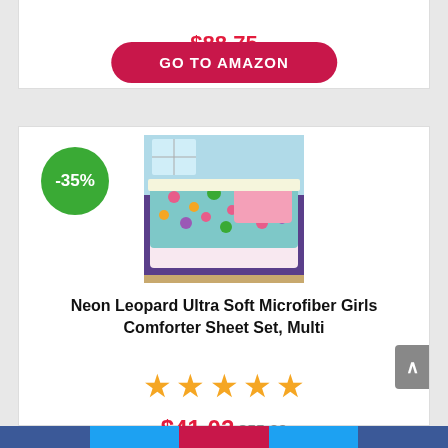$88.75
[Figure (other): GO TO AMAZON button - red pill-shaped button with white bold text]
[Figure (other): -35% green circular discount badge]
[Figure (photo): Product photo of Neon Leopard Ultra Soft Microfiber Girls Comforter Sheet Set, Multi - colorful floral/leopard print bedding on a bed with pink pillow]
Neon Leopard Ultra Soft Microfiber Girls Comforter Sheet Set, Multi
[Figure (other): 5 orange star rating icons]
$41.02 $55.38
[Figure (other): GO TO AMAZON button partially visible at bottom]
Social media navigation bar